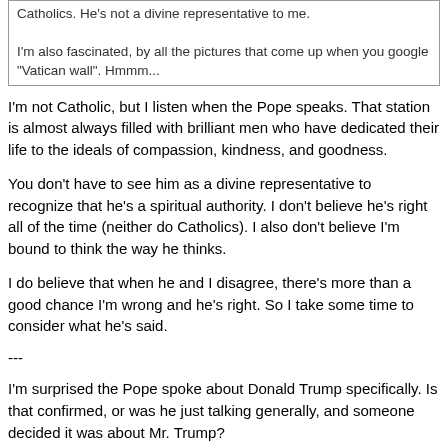Catholics. He's not a divine representative to me.
I'm also fascinated, by all the pictures that come up when you google "Vatican wall".  Hmmm...
I'm not Catholic, but I listen when the Pope speaks. That station is almost always filled with brilliant men who have dedicated their life to the ideals of compassion, kindness, and goodness.
You don't have to see him as a divine representative to recognize that he's a spiritual authority. I don't believe he's right all of the time (neither do Catholics). I also don't believe I'm bound to think the way he thinks.
I do believe that when he and I disagree, there's more than a good chance I'm wrong and he's right. So I take some time to consider what he's said.
---
I'm surprised the Pope spoke about Donald Trump specifically. Is that confirmed, or was he just talking generally, and someone decided it was about Mr. Trump?
Title: Re: Pope Francis questions Trump's Christianity
Post by: NobleHunter on February 18, 2016, 04:55:37 PM
I understand the context to be that he was asked about Trump and made the quoted statement in the OP as a response. He